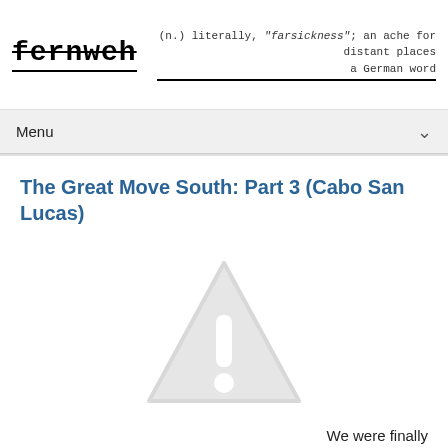fernweh — (n.) literally, "farsickness"; an ache for distant places — a German word
Menu
The Great Move South: Part 3 (Cabo San Lucas)
[Figure (illustration): Broken image placeholder: grey warning triangle with exclamation mark]
We were finally